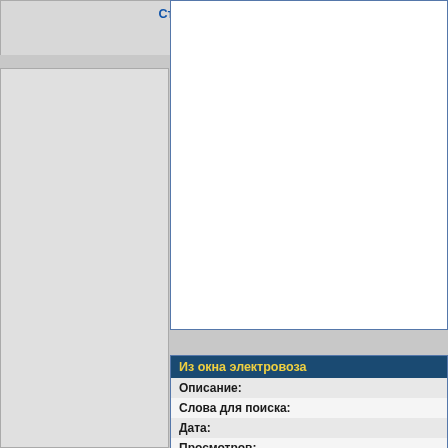Станция Москва-3 (4)
Комментарии: 3
nicos
[Figure (photo): Large empty white image area with blue border — photo placeholder]
| Из окна электровоза |
| --- |
| Описание: |
| Слова для поиска: |
| Дата: |
| Просмотров: |